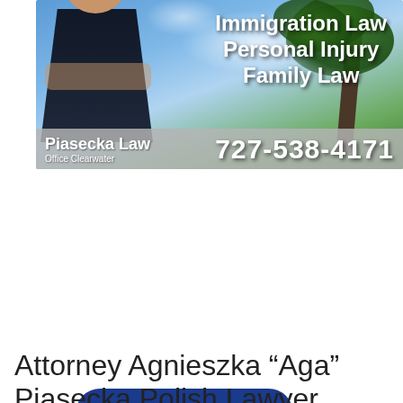[Figure (illustration): Banner advertisement for Piasecka Law showing a female attorney with crossed arms against a Florida sky and palm tree background. Text reads: Immigration Law, Personal Injury, Family Law. Bottom bar shows 'Piasecka Law / Office Clearwater' and phone number '727-538-4171'.]
Main Menu
Polski
Attorney Agnieszka “Aga” Piasecka Polish Lawyer Clearwater Beach Florida